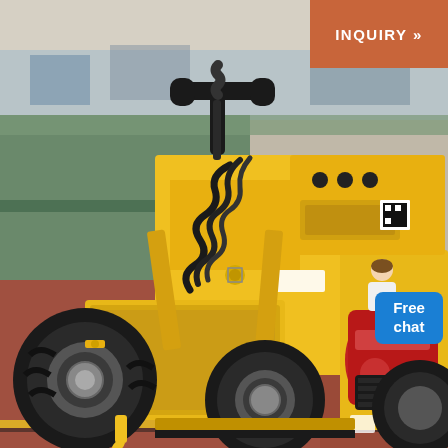[Figure (photo): A yellow and black mini skid steer loader photographed indoors in a factory or warehouse. The machine has four large rubber tires, hydraulic hoses, a steering wheel, handle bars, a red engine visible at the rear, and a control panel on a yellow frame. The floor has green and red painted sections.]
INQUIRY »
Free chat